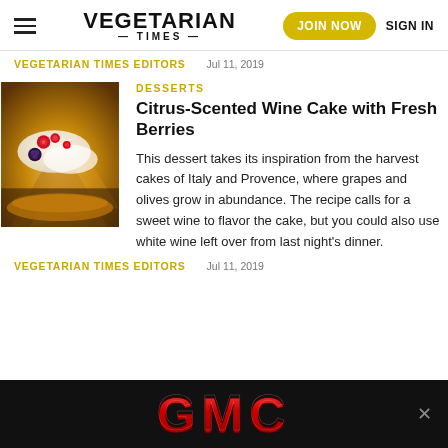VEGETARIAN TIMES | JOIN NOW | SIGN IN
VEGETARIAN TIMES EDITORS    Jul 11, 2019
[Figure (photo): Close-up photo of a citrus-scented wine cake with powdered sugar, fresh berries including raspberries and blackberries, and cream on top]
DESSERTS
Citrus-Scented Wine Cake with Fresh Berries
This dessert takes its inspiration from the harvest cakes of Italy and Provence, where grapes and olives grow in abundance. The recipe calls for a sweet wine to flavor the cake, but you could also use white wine left over from last night's dinner.
VEGETARIAN TIMES EDITORS    Jul 11, 2019
[Figure (logo): GMC advertisement banner with red GMC logo on black background]